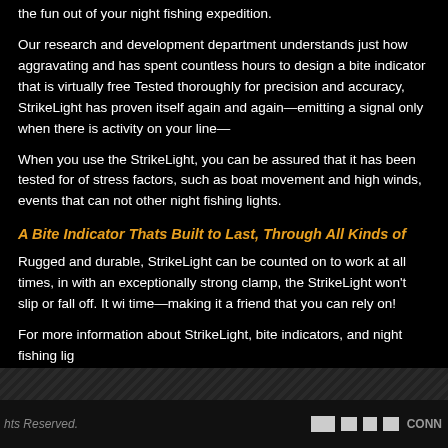the fun out of your night fishing expedition.
Our research and development department understands just how aggravating this can be and has spent countless hours to design a bite indicator that is virtually free of false alarms. Tested thoroughly for precision and accuracy, StrikeLight has proven itself again and again—emitting a signal only when there is activity on your line—
When you use the StrikeLight, you can be assured that it has been tested for a number of stress factors, such as boat movement and high winds, events that can not be found in other night fishing lights.
A Bite Indicator Thats Built to Last, Through All Kinds of
Rugged and durable, StrikeLight can be counted on to work at all times, in all conditions. With an exceptionally strong clamp, the StrikeLight won't slip or fall off. It will stand the test of time—making it a friend that you can rely on!
For more information about StrikeLight, bite indicators, and night fishing lig
hts Reserved.